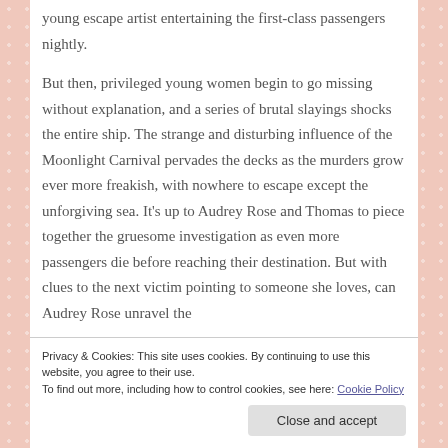young escape artist entertaining the first-class passengers nightly.
But then, privileged young women begin to go missing without explanation, and a series of brutal slayings shocks the entire ship. The strange and disturbing influence of the Moonlight Carnival pervades the decks as the murders grow ever more freakish, with nowhere to escape except the unforgiving sea. It's up to Audrey Rose and Thomas to piece together the gruesome investigation as even more passengers die before reaching their destination. But with clues to the next victim pointing to someone she loves, can Audrey Rose unravel the
Privacy & Cookies: This site uses cookies. By continuing to use this website, you agree to their use.
To find out more, including how to control cookies, see here: Cookie Policy